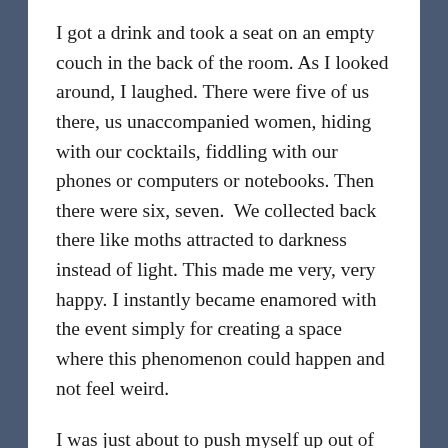I got a drink and took a seat on an empty couch in the back of the room. As I looked around, I laughed. There were five of us there, us unaccompanied women, hiding with our cocktails, fiddling with our phones or computers or notebooks. Then there were six, seven.  We collected back there like moths attracted to darkness instead of light. This made me very, very happy. I instantly became enamored with the event simply for creating a space where this phenomenon could happen and not feel weird.

I was just about to push myself up out of the broken-down couch to ask if I could join the woman in front of me — a fellow shy, bookish scribbler — when another solo